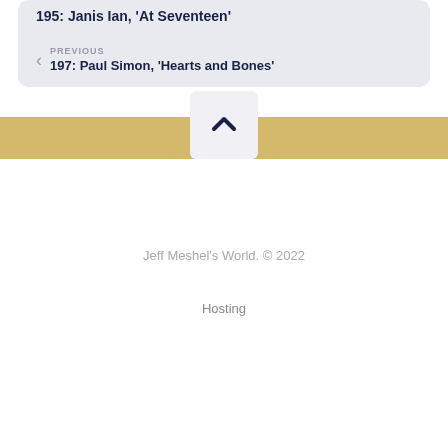195: Janis Ian, 'At Seventeen'
PREVIOUS
197: Paul Simon, 'Hearts and Bones'
[Figure (other): Scroll-to-top button with upward chevron arrow on a light grey rounded square background]
Jeff Meshel's World. © 2022
Hosting